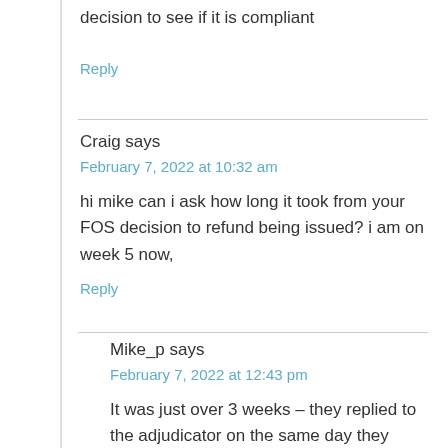decision to see if it is compliant
Reply
Craig says
February 7, 2022 at 10:32 am
hi mike can i ask how long it took from your FOS decision to refund being issued? i am on week 5 now,
Reply
Mike_p says
February 7, 2022 at 12:43 pm
It was just over 3 weeks – they replied to the adjudicator on the same day they issued their decision saying the credit